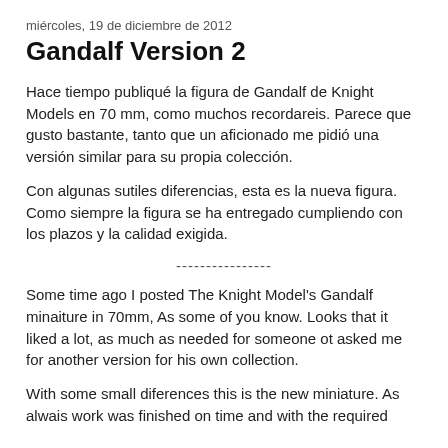miércoles, 19 de diciembre de 2012
Gandalf Version 2
Hace tiempo publiqué la figura de Gandalf de Knight Models en 70 mm, como muchos recordareis. Parece que gusto bastante, tanto que un aficionado me pidió una versión similar para su propia colección.
Con algunas sutiles diferencias, esta es la nueva figura. Como siempre la figura se ha entregado cumpliendo con los plazos y la calidad exigida.
----------------
Some time ago I posted The Knight Model's Gandalf minaiture in 70mm, As some of you know. Looks that it liked a lot, as much as needed for someone ot asked me for another version for his own collection.
With some small diferences this is the new miniature. As alwais work was finished on time and with the required